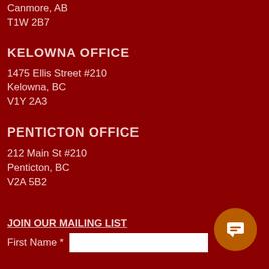Canmore, AB
T1W 2B7
KELOWNA OFFICE
1475 Ellis Street #210
Kelowna, BC
V1Y 2A3
PENTICTON OFFICE
212 Main St #210
Penticton, BC
V2A 5B2
JOIN OUR MAILING LIST
First Name *